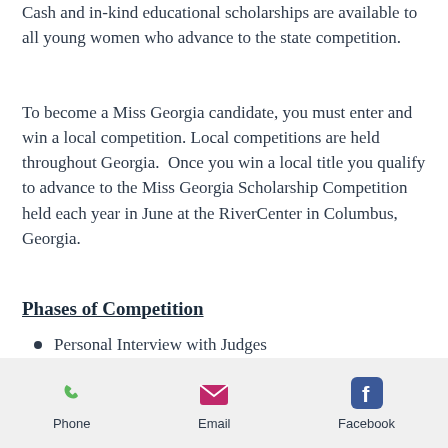Cash and in-kind educational scholarships are available to all young women who advance to the state competition.
To become a Miss Georgia candidate, you must enter and win a local competition. Local competitions are held throughout Georgia.  Once you win a local title you qualify to advance to the Miss Georgia Scholarship Competition held each year in June at the RiverCenter in Columbus, Georgia.
Phases of Competition
Personal Interview with Judges
Onstage Interview
Talent Competition
Social Impact Pitch
Phone  Email  Facebook